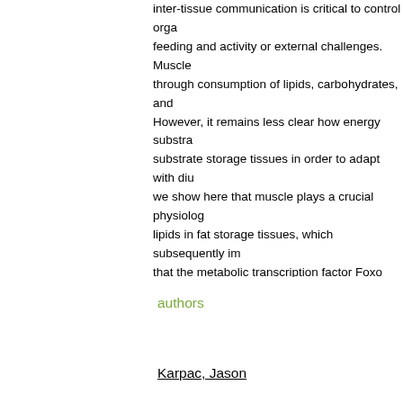inter-tissue communication is critical to control organism feeding and activity or external challenges. Muscle through consumption of lipids, carbohydrates, and However, it remains less clear how energy substra substrate storage tissues in order to adapt with diu we show here that muscle plays a crucial physiolog lipids in fat storage tissues, which subsequently im that the metabolic transcription factor Foxo govern muscle, which acts as a myokine to control glucage neuroendocrine cells. Circulating AKH levels in tur intestine. Our data also reveal that this novel myok rhythms in circulating lipids. This tissue crosstalk p autonomous energy demand with systemic energy inter-tissue signaling network between muscle and governing systemic energy homeostasis.
authors
Karpac, Jason